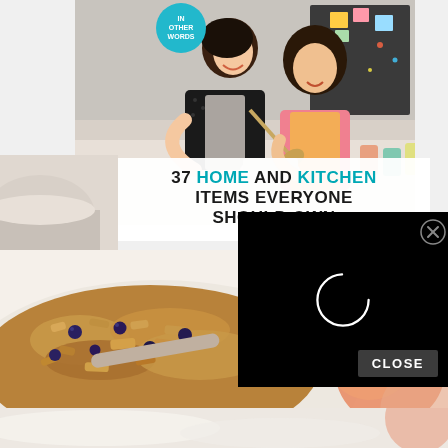[Figure (photo): A woman and a young girl in aprons cooking or baking together in a kitchen, smiling. The woman appears to be teaching the child.]
37 HOME AND KITCHEN ITEMS EVERYONE SHOULD OWN
[Figure (photo): Close-up of a crumble or crisp dessert with blueberries and oat topping, with an apple visible in the background.]
[Figure (screenshot): A black video player overlay with a loading spinner circle, and a CLOSE button at the bottom right.]